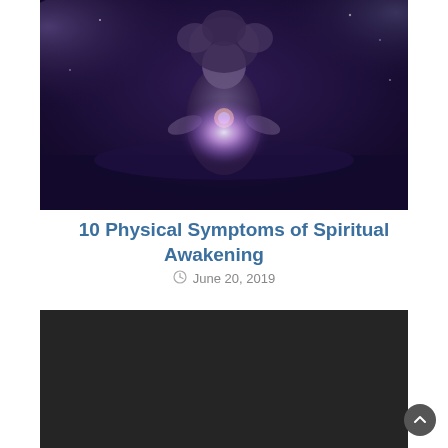[Figure (illustration): Fantasy/spiritual illustration of a mystical feminine figure surrounded by storm clouds, holding a glowing orb of light at the chest, with dark purple and blue atmospheric tones]
10 Physical Symptoms of Spiritual Awakening
June 20, 2019
[Figure (photo): Dark near-black rectangular image, appears to be a dark photo or video thumbnail placeholder]